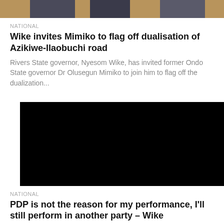[Figure (photo): Partial view of people in formal attire, cropped at top of page]
NATIONAL
Wike invites Mimiko to flag off dualisation of Azikiwe-Ilaobuchi road
Rivers State governor, Nyesom Wike, has invited former Ondo State governor Dr Olusegun Mimiko to join him to flag off the dualization...
[Figure (photo): Black image / video thumbnail]
NATIONAL
PDP is not the reason for my performance, I'll still perform in another party – Wike
Rivers State Governor Nyesom Wike has said his performance has nothing to do with being a member of the Peoples